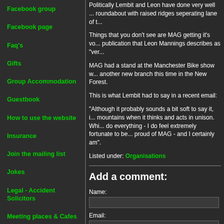Facebook group
Facebook page
Faq's
Gifts
Group Accommodation
Guestbook
How to use the website
Insurance
Join the mailing list
Jokes
Legal - Accident Solicitors
Meeting places & Cafes
Motorcycle Club links
Motorcycle Detailing
Politically Lembit and Leon have done very well ... roundabout with raised ridges seperating lane of t...
Things that you don't see are MAG getting it's vo... publication that Leon Mannings describes as "ver...
MAG had a stand at the Manchester Bike show w... another new branch this time in the New Forest.
This is what Lembit had to say in a recent email:
"Although it probably sounds a bit soft to say it, i... mountains when it thinks and acts in unison. Whi... do everything - I do feel extremely fortunate to be... proud of MAG - and I certainly am".
Listed under: Organisations
Add a comment:
Name:
Email:
Message: